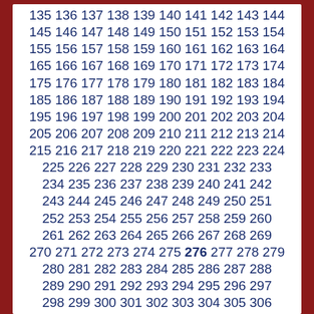135 136 137 138 139 140 141 142 143 144 145 146 147 148 149 150 151 152 153 154 155 156 157 158 159 160 161 162 163 164 165 166 167 168 169 170 171 172 173 174 175 176 177 178 179 180 181 182 183 184 185 186 187 188 189 190 191 192 193 194 195 196 197 198 199 200 201 202 203 204 205 206 207 208 209 210 211 212 213 214 215 216 217 218 219 220 221 222 223 224 225 226 227 228 229 230 231 232 233 234 235 236 237 238 239 240 241 242 243 244 245 246 247 248 249 250 251 252 253 254 255 256 257 258 259 260 261 262 263 264 265 266 267 268 269 270 271 272 273 274 275 276 277 278 279 280 281 282 283 284 285 286 287 288 289 290 291 292 293 294 295 296 297 298 299 300 301 302 303 304 305 306 307 308 309 310 311 312 313 314 315 316 317 318 319 320 321 322 323 324 325 326 327 328 329 330 331 332 333 334 335 336 337 338 339 340 341 342 343